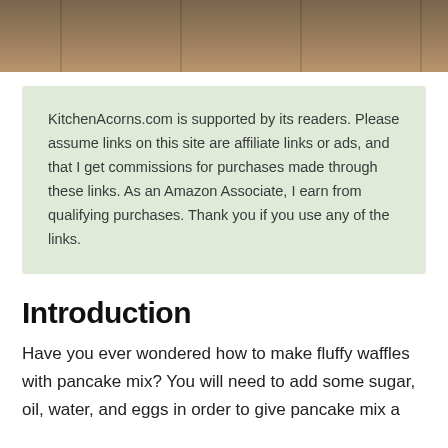[Figure (photo): Top portion of a food/kitchen photo showing wooden table surface with baking ingredients]
KitchenAcorns.com is supported by its readers. Please assume links on this site are affiliate links or ads, and that I get commissions for purchases made through these links. As an Amazon Associate, I earn from qualifying purchases. Thank you if you use any of the links.
Introduction
Have you ever wondered how to make fluffy waffles with pancake mix? You will need to add some sugar, oil, water, and eggs in order to give pancake mix a